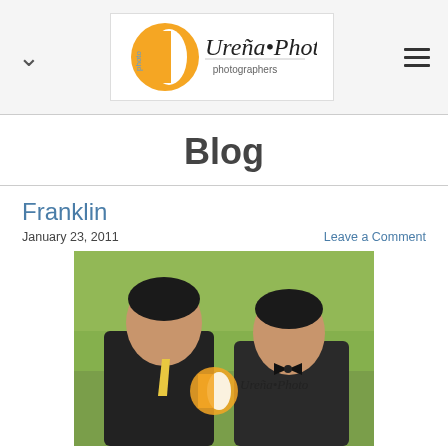[Figure (logo): Ureña Photo photographers logo with orange circle and stylized text]
Blog
Franklin
January 23, 2011
Leave a Comment
[Figure (photo): Two men in formal suits smiling outdoors with green foliage background, watermarked with Ureña Photo logo]